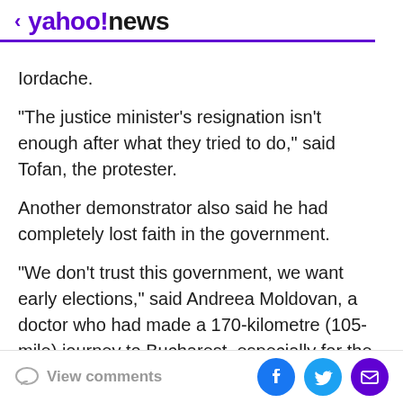< yahoo!news
Iordache.
"The justice minister's resignation isn't enough after what they tried to do," said Tofan, the protester.
Another demonstrator also said he had completely lost faith in the government.
"We don't trust this government, we want early elections," said Andreea Moldovan, a doctor who had made a 170-kilometre (105-mile) journey to Bucharest, especially for the protest.
Romania joined the European Union in 2007 and Brussels has long taken Bucharest to task over slow progress
View comments